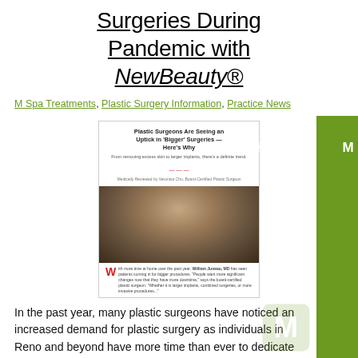Surgeries During Pandemic with NewBeauty®
M Spa Treatments, Plastic Surgery Information, Practice News
[Figure (screenshot): Screenshot of a NewBeauty article titled 'Plastic Surgeons Are Seeing an Uptick in Bigger Surgeries — Here's Why' with a photo of a woman and article text beginning with a large red W.]
In the past year, many plastic surgeons have noticed an increased demand for plastic surgery as individuals in Reno and beyond have more time than ever to dedicate to downtime. Along with a more robust surgery schedule, board-certified plastic surgeon Tiffany McCormack, MD has also